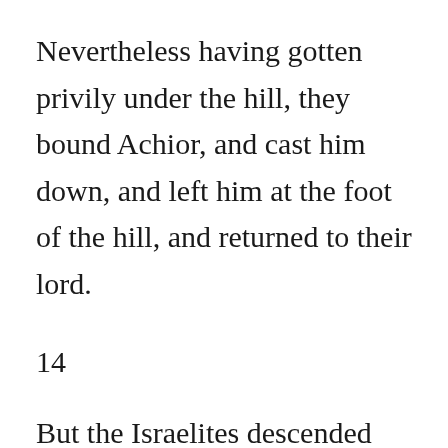Nevertheless having gotten privily under the hill, they bound Achior, and cast him down, and left him at the foot of the hill, and returned to their lord.
14
But the Israelites descended from their city, and came unto him, and loosed him, and brought him to Bethulia, and presented him to the governors of the